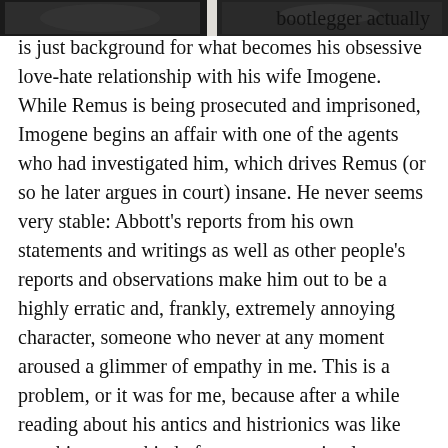[Figure (photo): Black and white photograph strip at the top of the page showing partial figures]
bootlegger actually is just background for what becomes his obsessive love-hate relationship with his wife Imogene. While Remus is being prosecuted and imprisoned, Imogene begins an affair with one of the agents who had investigated him, which drives Remus (or so he later argues in court) insane. He never seems very stable: Abbott's reports from his own statements and writings as well as other people's reports and observations make him out to be a highly erratic and, frankly, extremely annoying character, someone who never at any moment aroused a glimmer of empathy in me. This is a problem, or it was for me, because after a while reading about his antics and histrionics was like watching some kind of strange zoo animal go berserk and hoping eventually someone will just sedate him and get it over with. Imogene is no better: she's an opportunist who lies and manipulates and takes everything she can from Remus. When he shoots